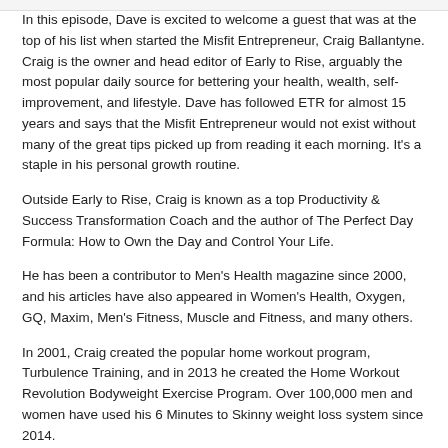In this episode, Dave is excited to welcome a guest that was at the top of his list when started the Misfit Entrepreneur, Craig Ballantyne. Craig is the owner and head editor of Early to Rise, arguably the most popular daily source for bettering your health, wealth, self-improvement, and lifestyle. Dave has followed ETR for almost 15 years and says that the Misfit Entrepreneur would not exist without many of the great tips picked up from reading it each morning. It's a staple in his personal growth routine.
Outside Early to Rise, Craig is known as a top Productivity & Success Transformation Coach and the author of The Perfect Day Formula: How to Own the Day and Control Your Life.
He has been a contributor to Men's Health magazine since 2000, and his articles have also appeared in Women's Health, Oxygen, GQ, Maxim, Men's Fitness, Muscle and Fitness, and many others.
In 2001, Craig created the popular home workout program, Turbulence Training, and in 2013 he created the Home Workout Revolution Bodyweight Exercise Program. Over 100,000 men and women have used his 6 Minutes to Skinny weight loss system since 2014.
Craig's online success has led him to create books and a coaching program to show others how to take their ideas and help thousands of people. He holds seminars around the world, and he teaches at the annual Sovereign Academy camp every summer in Lithuania.